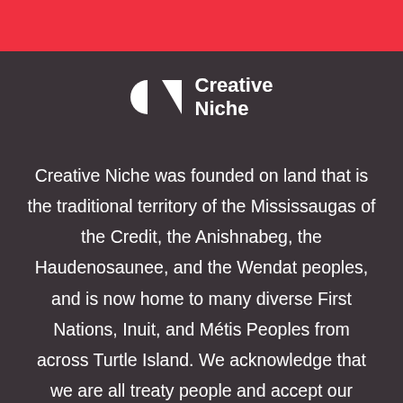[Figure (logo): Creative Niche logo: a stylized C and N lettermark in white, followed by the text 'Creative Niche' in bold white sans-serif]
Creative Niche was founded on land that is the traditional territory of the Mississaugas of the Credit, the Anishnabeg, the Haudenosaunee, and the Wendat peoples, and is now home to many diverse First Nations, Inuit, and Métis Peoples from across Turtle Island. We acknowledge that we are all treaty people and accept our responsibility to honour all our relations.